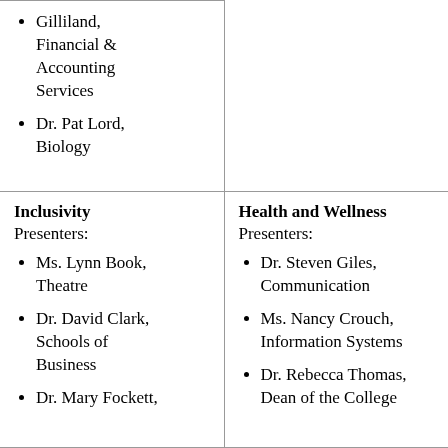| Gilliland, Financial & Accounting Services
Dr. Pat Lord, Biology |  |
| Inclusivity
Presenters:

Ms. Lynn Book, Theatre
Dr. David Clark, Schools of Business
Dr. Mary Fockett... | Health and Wellness
Presenters:

Dr. Steven Giles, Communication
Ms. Nancy Crouch, Information Systems
Dr. Rebecca Thomas, Dean of the College... |